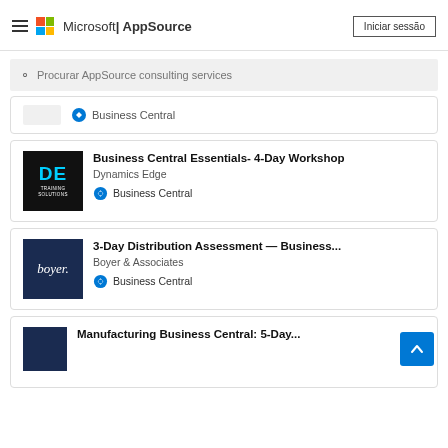Microsoft | AppSource — Iniciar sessão
Procurar AppSource consulting services
Business Central (partial card)
Business Central Essentials- 4-Day Workshop
Dynamics Edge
Business Central
3-Day Distribution Assessment — Business...
Boyer & Associates
Business Central
Manufacturing Business Central: 5-Day...